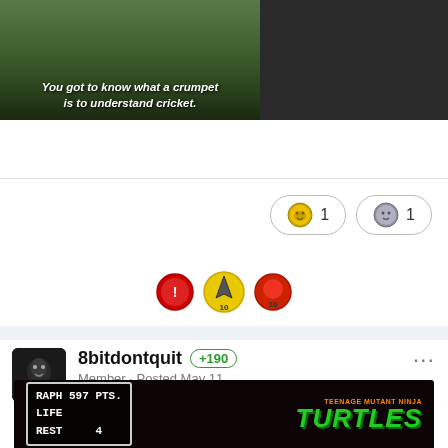[Figure (screenshot): Video screenshot with caption 'You got to know what a crumpet is to understand cricket.']
[Figure (infographic): Two reaction buttons with emoji icons showing counts of 1 each]
[Figure (infographic): Three badge icons in a row]
8bitdontquit +190 Member · Posted May 11
Stage 6     597
[Figure (screenshot): TMNT arcade game screenshot showing RAPH 597 PTS. LIFE REST 4 with Teenage Mutant Ninja Turtles logo]